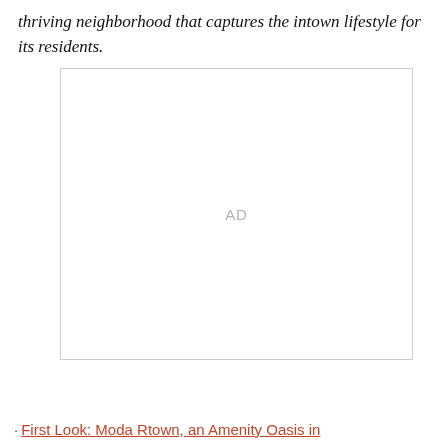thriving neighborhood that captures the intown lifestyle for its residents.
[Figure (other): Advertisement placeholder box with 'AD' label centered inside a rectangular bordered area]
· First Look: Moda Rtown, an Amenity Oasis in